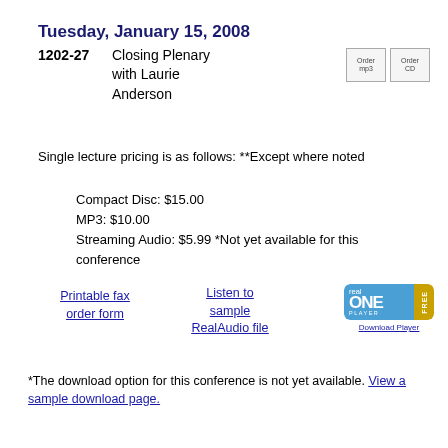Tuesday, January 15, 2008
1202-27   Closing Plenary with Laurie Anderson
Single lecture pricing is as follows: **Except where noted
Compact Disc: $15.00
MP3: $10.00
Streaming Audio: $5.99 *Not yet available for this conference
Printable fax order form
Listen to sample RealAudio file
[Figure (logo): RealOne Player Free - Download Player logo/button]
*The download option for this conference is not yet available. View a sample download page.